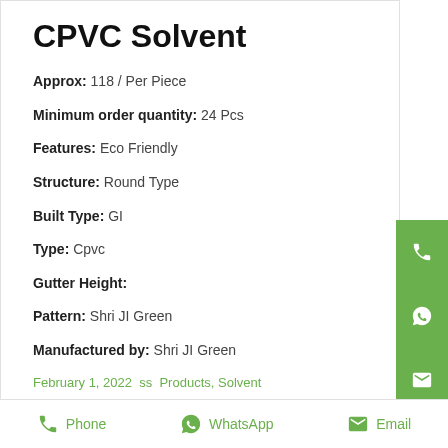CPVC Solvent
Approx: 118 / Per Piece
Minimum order quantity: 24 Pcs
Features: Eco Friendly
Structure: Round Type
Built Type: GI
Type: Cpvc
Gutter Height:
Pattern: Shri JI Green
Manufactured by: Shri JI Green
February 1, 2022  ss  Products, Solvent
Phone  WhatsApp  Email